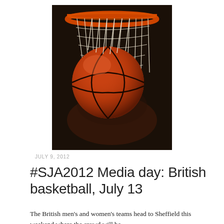[Figure (photo): Close-up photograph of a basketball going through a basketball hoop net, with an orange rim visible at the top and a dark blurred background. The orange basketball is caught in the white net strings.]
JULY 9, 2012
#SJA2012 Media day: British basketball, July 13
The British men's and women's teams head to Sheffield this weekend where the crowd will be